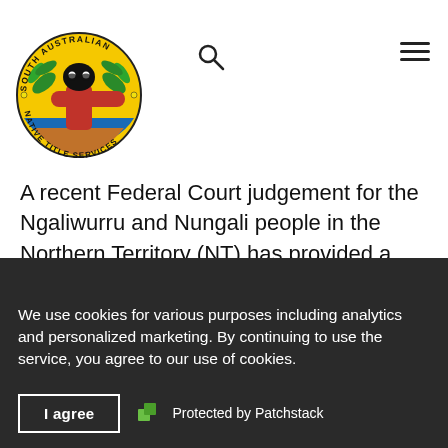[Figure (logo): South Australian Native Title Services circular logo with indigenous artwork — red and black figure with green leaves on yellow and blue background, text around border]
A recent Federal Court judgement for the Ngaliwurru and Nungali people in the Northern Territory (NT) has provided a potential precedent and method for calculating compensation for loss of
native title rights for the first time in Australia's history. The decision provides clarity on how to calculate compensation for previous interference with native title ...
We use cookies for various purposes including analytics and personalized marketing. By continuing to use the service, you agree to our use of cookies.
I agree
Protected by Patchstack